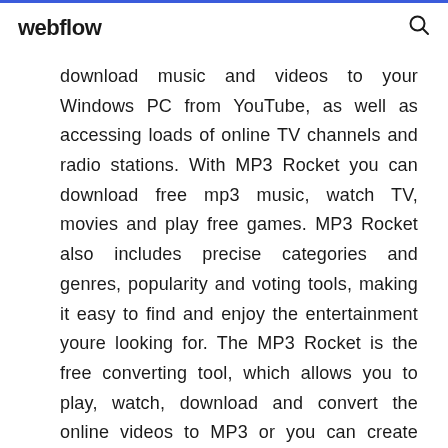webflow
download music and videos to your Windows PC from YouTube, as well as accessing loads of online TV channels and radio stations. With MP3 Rocket you can download free mp3 music, watch TV, movies and play free games. MP3 Rocket also includes precise categories and genres, popularity and voting tools, making it easy to find and enjoy the entertainment youre looking for. The MP3 Rocket is the free converting tool, which allows you to play, watch, download and convert the online videos to MP3 or you can create ringtones. It runs on XP/Vista/7/8/10 for both32/64-bit.
All version MP3 Rocket 7.1.1 (latest) MP3